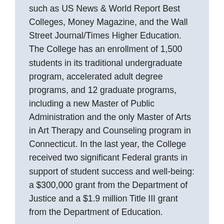such as US News & World Report Best Colleges, Money Magazine, and the Wall Street Journal/Times Higher Education. The College has an enrollment of 1,500 students in its traditional undergraduate program, accelerated adult degree programs, and 12 graduate programs, including a new Master of Public Administration and the only Master of Arts in Art Therapy and Counseling program in Connecticut. In the last year, the College received two significant Federal grants in support of student success and well-being: a $300,000 grant from the Department of Justice and a $1.9 million Title III grant from the Department of Education.
CONTACT
SARAH BARR
MEDIA COMMUNICATIONS SPECIALIST